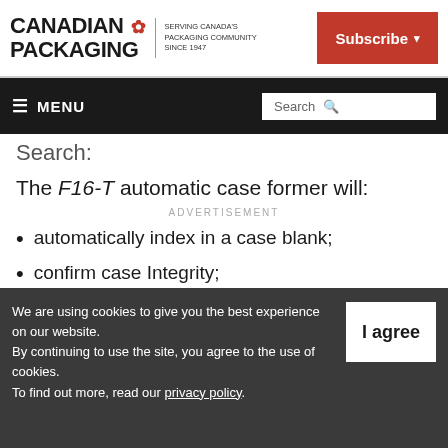Canadian Packaging — Serving Canada's Packaging Community Since 1947 | Subscribe | MENU | Search
Search:
The F16-T automatic case former will:
ADVERTISEMENT
automatically index in a case blank;
confirm case Integrity;
positively fold all four bottom flaps;
We are using cookies to give you the best experience on our website. By continuing to use the site, you agree to the use of cookies. To find out more, read our privacy policy.